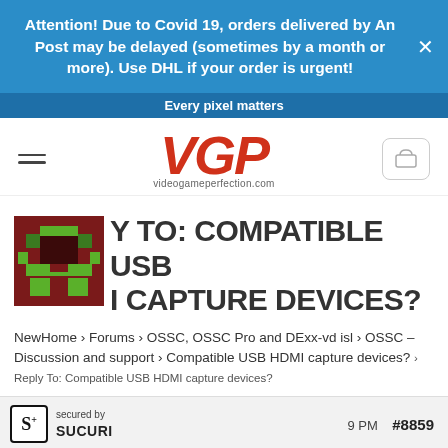Attention! Due to Covid 19, orders delivered by An Post may be delayed (sometimes by a month or more). Use DHL if your order is urgent!
Every pixel matters
[Figure (logo): VGP logo with text videogameperfection.com and hamburger menu and cart icon]
REPLY TO: COMPATIBLE USB HDMI CAPTURE DEVICES?
NewHome › Forums › OSSC, OSSC Pro and DExx-vd isl › OSSC – Discussion and support › Compatible USB HDMI capture devices? › Reply To: Compatible USB HDMI capture devices?
secured by Sucuri
9 PM   #8859
grantbuggy